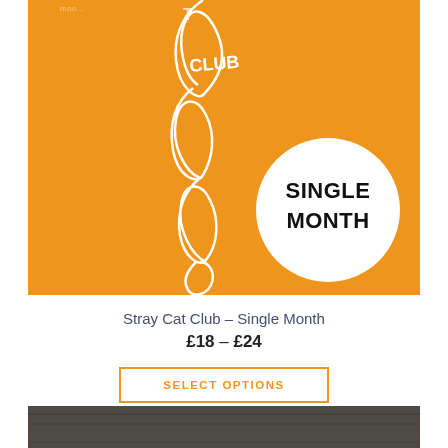[Figure (illustration): Orange background product image for Stray Cat Club Single Month subscription box. Features a white outline illustration of a twisted/coiled cat shape in the center, and a white circle badge in the bottom right with bold black text reading 'SINGLE MONTH'. The word 'CLUB' is visible in white text on the cat illustration.]
Stray Cat Club – Single Month
£18 – £24
SELECT OPTIONS
[Figure (photo): Partial view of a dark wooden surface or background at the bottom of the page.]